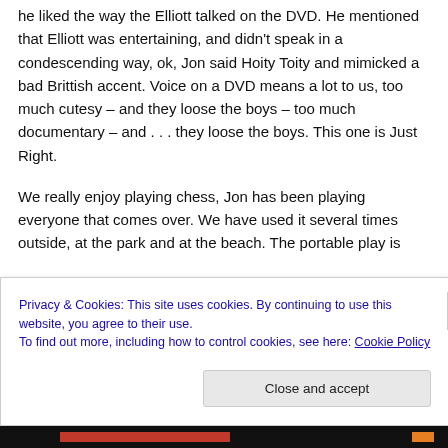he liked the way the Elliott talked on the DVD. He mentioned that Elliott was entertaining, and didn't speak in a condescending way, ok, Jon said Hoity Toity and mimicked a bad Brittish accent. Voice on a DVD means a lot to us, too much cutesy – and they loose the boys – too much documentary – and . . . they loose the boys. This one is Just Right.
We really enjoy playing chess, Jon has been playing everyone that comes over. We have used it several times outside, at the park and at the beach. The portable play is
Privacy & Cookies: This site uses cookies. By continuing to use this website, you agree to their use.
To find out more, including how to control cookies, see here: Cookie Policy